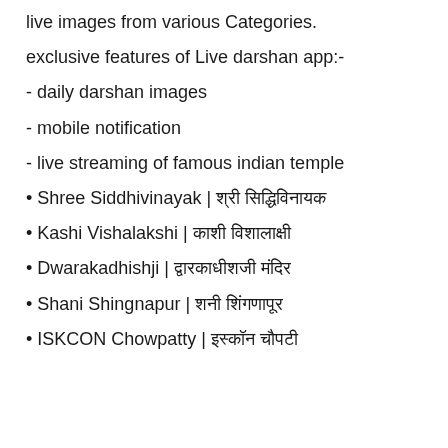live images from various Categories.
exclusive features of Live darshan app:-
- daily darshan images
- mobile notification
- live streaming of famous indian temple
• Shree Siddhivinayak | श्री सिद्धिविनायक
• Kashi Vishalakshi | काशी विशालाक्षी
• Dwarakadhishji | द्वारकाधीशजी मंदिर
• Shani Shingnapur | शनी शिंगणापूर
• ISKCON Chowpatty | इस्कॉन चौपटी